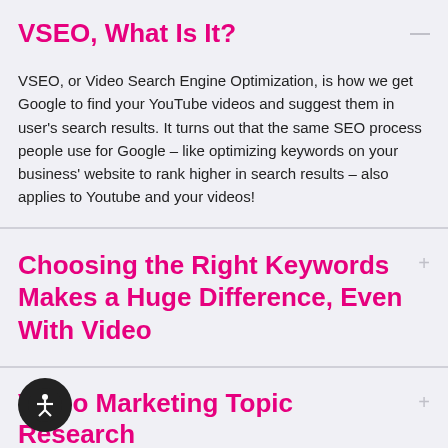VSEO, What Is It?
VSEO, or Video Search Engine Optimization, is how we get Google to find your YouTube videos and suggest them in user's search results. It turns out that the same SEO process people use for Google – like optimizing keywords on your business' website to rank higher in search results – also applies to Youtube and your videos!
Choosing the Right Keywords Makes a Huge Difference, Even With Video
Video Marketing Topic Research
We Get Technical